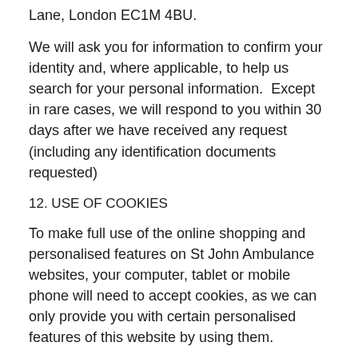Lane, London EC1M 4BU.
We will ask you for information to confirm your identity and, where applicable, to help us search for your personal information.  Except in rare cases, we will respond to you within 30 days after we have received any request (including any identification documents requested)
12. USE OF COOKIES
To make full use of the online shopping and personalised features on St John Ambulance websites, your computer, tablet or mobile phone will need to accept cookies, as we can only provide you with certain personalised features of this website by using them.
Our cookies don't store sensitive information such as your name, address or payment details: they simply hold the ‘key’ that, once you’re signed in, is associated with this information.
You can restrict, block or delete cookies from St John